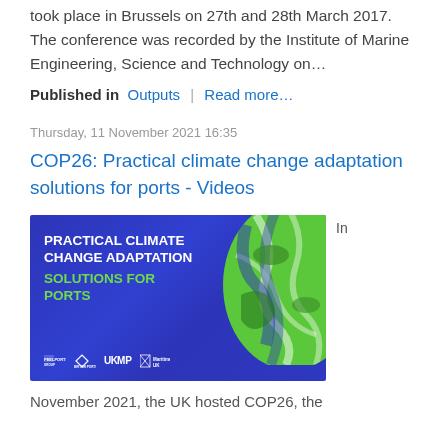took place in Brussels on 27th and 28th March 2017. The conference was recorded by the Institute of Marine Engineering, Science and Technology on…
Published in  Outputs  |  Read more…
Thursday, 11 November 2021 16:35
COP26: Practical climate change adaptation solutions for ports - Videos
[Figure (illustration): Promotional banner image with dark blue background showing text 'PRACTICAL CLIMATE CHANGE ADAPTATION SOLUTIONS FOR PORTS' with a green globe graphic, and logos for Peel Ports Group, British Ports, UKMPG, and Maritime UK at the bottom.]
In
November 2021, the UK hosted COP26, the